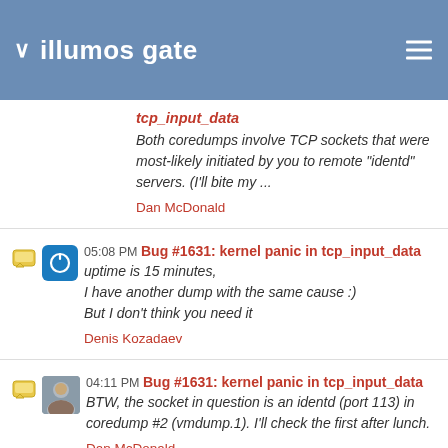illumos gate
tcp_input_data
Both coredumps involve TCP sockets that were most-likely initiated by you to remote "identd" servers. (I'll bite my ...
Dan McDonald
05:08 PM Bug #1631: kernel panic in tcp_input_data
uptime is 15 minutes,
I have another dump with the same cause :)
But I don't think you need it
Denis Kozadaev
04:11 PM Bug #1631: kernel panic in tcp_input_data
BTW, the socket in question is an identd (port 113) in coredump #2 (vmdump.1). I'll check the first after lunch.
Dan McDonald